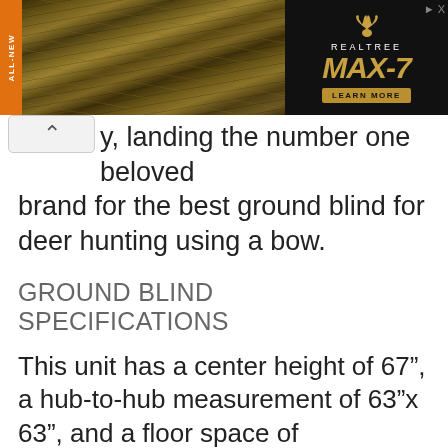[Figure (photo): Advertisement banner with camouflage/grass background and Realtree MAX-7 logo with orange ALL-NEW badge on left side and LEARN MORE button]
y, landing the number one beloved brand for the best ground blind for deer hunting using a bow.
GROUND BLIND SPECIFICATIONS
This unit has a center height of 67”, a hub-to-hub measurement of 63”x 63”, and a floor space of 49.5”x49.5”–the whole unit weighs about 13 pounds. The Rhino Blinds R100-MOC is a well-crafted blind with the True 150 denier polyester and threading of the